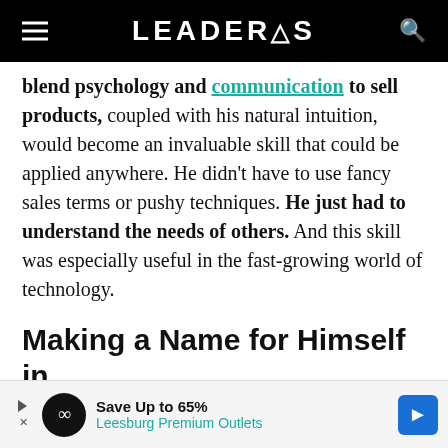LEADERS
blend psychology and communication to sell products, coupled with his natural intuition, would become an invaluable skill that could be applied anywhere. He didn't have to use fancy sales terms or pushy techniques. He just had to understand the needs of others. And this skill was especially useful in the fast-growing world of technology.
Making a Name for Himself in the Tech World
In the 1970s, anyone who was anyone in business
[Figure (other): Advertisement banner for Leesburg Premium Outlets - Save Up to 65%]